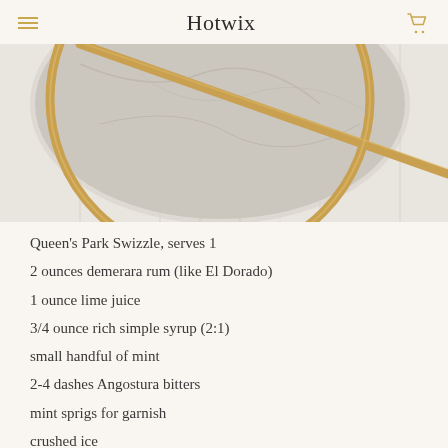Hotwix
[Figure (photo): Close-up photo of gold metallic circular and diagonal bar forms over a marble surface with white paneled background]
Queen's Park Swizzle, serves 1
2 ounces demerara rum (like El Dorado)
1 ounce lime juice
3/4 ounce rich simple syrup (2:1)
small handful of mint
2-4 dashes Angostura bitters
mint sprigs for garnish
crushed ice
[Figure (photo): Partial bottom photo showing a gold decorative element against a light background with vertical panel lines]